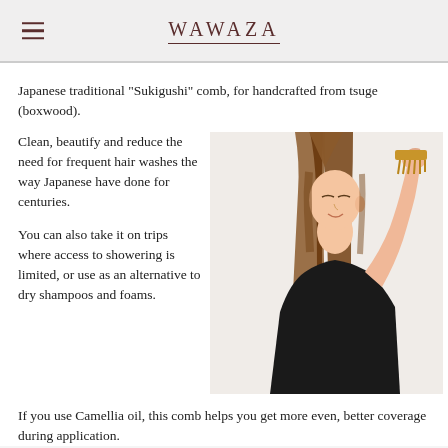WAWAZA
Japanese traditional "Sukigushi" comb, for handcrafted from tsuge (boxwood).
Clean, beautify and reduce the need for frequent hair washes the way Japanese have done for centuries.
[Figure (photo): Woman combing her hair with a wooden Sukigushi comb, arm raised, long straight hair, wearing a black top, white background.]
You can also take it on trips where access to showering is limited, or use as an alternative to dry shampoos and foams.
If you use Camellia oil, this comb helps you get more even, better coverage during application.